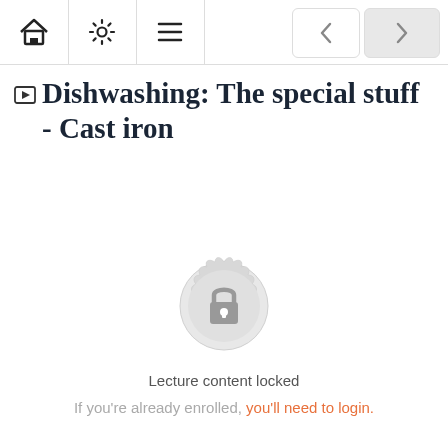Navigation bar with home, settings, list icons and back/forward buttons
Dishwashing: The special stuff - Cast iron
[Figure (illustration): A circular badge/seal with a lock icon in the center, indicating locked content]
Lecture content locked
If you're already enrolled, you'll need to login.